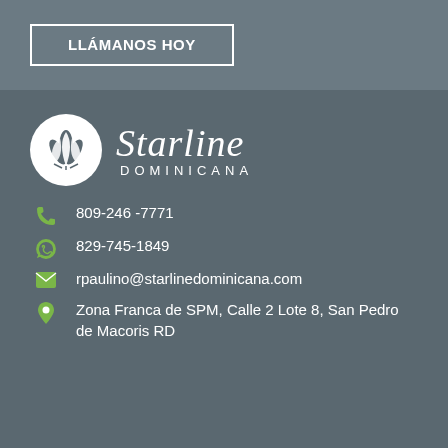LLÁMANOS HOY
[Figure (logo): Starline Dominicana logo with white leaf circle icon and script text]
809-246 -7771
829-745-1849
rpaulino@starlinedominicana.com
Zona Franca de SPM, Calle 2 Lote 8, San Pedro de Macoris RD